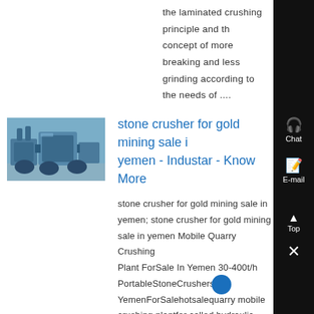the laminated crushing principle and the concept of more breaking and less grinding according to the needs of ....
[Figure (photo): Industrial stone crusher machine, blue-toned photo]
stone crusher for gold mining sale in yemen - Industar - Know More
stone crusher for gold mining sale in yemen; stone crusher for gold mining sale in yemen Mobile Quarry Crushing Plant ForSale In Yemen 30-400t/h PortableStoneCrushers YemenForSalehotsalequarry mobile crushing plantfor called hydraulic impactcrushersit is the newest forsale yemenwith good price forsale, ....